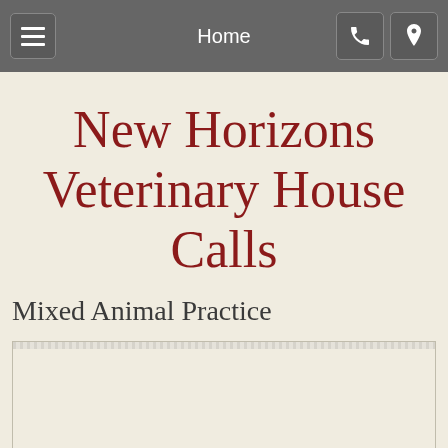Home
New Horizons Veterinary House Calls
Mixed Animal Practice
[Figure (photo): Partially visible image at bottom of page, content not fully shown]